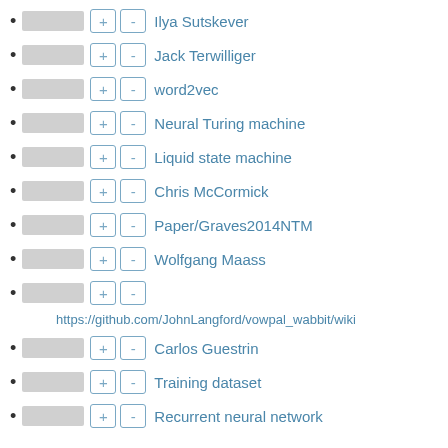Ilya Sutskever
Jack Terwilliger
word2vec
Neural Turing machine
Liquid state machine
Chris McCormick
Paper/Graves2014NTM
Wolfgang Maass
https://github.com/JohnLangford/vowpal_wabbit/wiki
Carlos Guestrin
Training dataset
Recurrent neural network